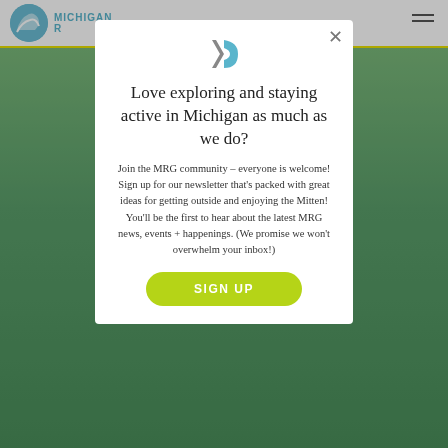MICHIGAN R
[Figure (screenshot): Background photo of people in a field/park, green outdoor scene]
Love exploring and staying active in Michigan as much as we do?
Join the MRG community – everyone is welcome! Sign up for our newsletter that's packed with great ideas for getting outside and enjoying the Mitten! You'll be the first to hear about the latest MRG news, events + happenings. (We promise we won't overwhelm your inbox!)
SIGN UP